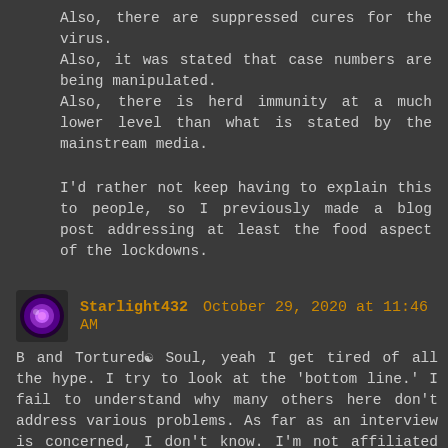Also, there are suppressed cures for the virus. Also, it was stated that case numbers are being manipulated. Also, there is herd immunity at a much lower level than what is stated by the mainstream media.
I'd rather not keep having to explain this to people, so I previously made a blog post addressing at least the food aspect of the lockdowns.
Starlight432 October 29, 2020 at 11:46 AM — B and Tortured Soul, yeah I get tired of all the hype. I try to look at the 'bottom line.' I fail to understand why many others here don't address various problems. As far as an interview is concerned, I don't know. I'm not affiliated with anyone to do that. Who knows though.